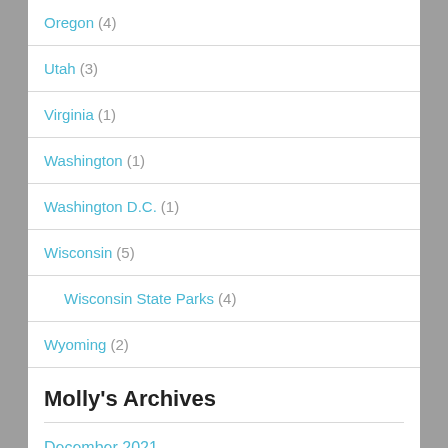Oregon (4)
Utah (3)
Virginia (1)
Washington (1)
Washington D.C. (1)
Wisconsin (5)
Wisconsin State Parks (4)
Wyoming (2)
Molly's Archives
December 2021
May 2020
April 2020